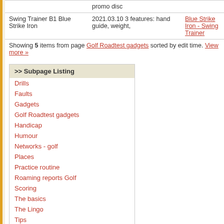|  |  |  |
| --- | --- | --- |
|  | promo disc |  |
| Swing Trainer B1 Blue Strike Iron | 2021.03.10 3 features: hand guide, weight, | Blue Strike Iron - Swing Trainer |
Showing 5 items from page Golf Roadtest gadgets sorted by edit time. View more »
>> Subpage Listing
Drills
Faults
Gadgets
Golf Roadtest gadgets
Handicap
Humour
Networks - golf
Places
Practice routine
Roaming reports Golf
Scoring
The basics
The Lingo
Tips